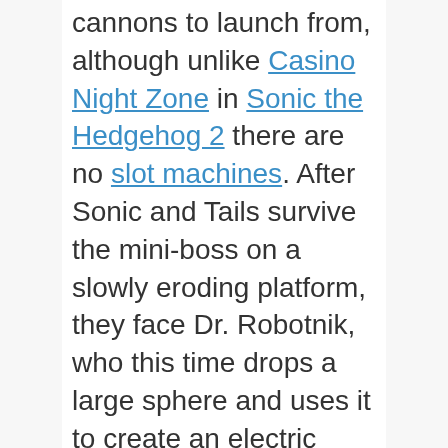cannons to launch from, although unlike Casino Night Zone in Sonic the Hedgehog 2 there are no slot machines. After Sonic and Tails survive the mini-boss on a slowly eroding platform, they face Dr. Robotnik, who this time drops a large sphere and uses it to create an electric storm that draws the pair towards its discharge. Halfway through Act 2, Sonic must push a rotating cylinder down through a slot low enough for him to escape through. This is completed by pressing up and down on the D-pad, essentially frustrating many players who didn't figure out the tricks at first.